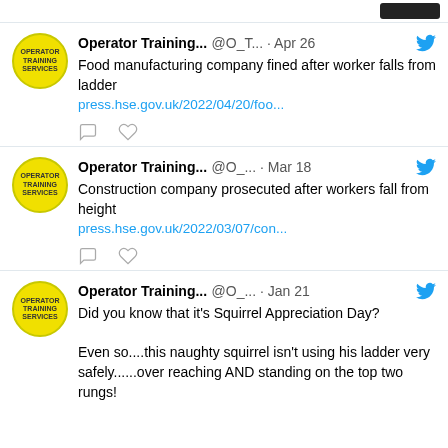[Figure (screenshot): Partial top bar with black button at top right]
Operator Training... @O_T... · Apr 26 — Food manufacturing company fined after worker falls from ladder
press.hse.gov.uk/2022/04/20/foo...
Operator Training... @O_... · Mar 18 — Construction company prosecuted after workers fall from height
press.hse.gov.uk/2022/03/07/con...
Operator Training... @O_... · Jan 21 — Did you know that it's Squirrel Appreciation Day?

Even so....this naughty squirrel isn't using his ladder very safely......over reaching AND standing on the top two rungs!